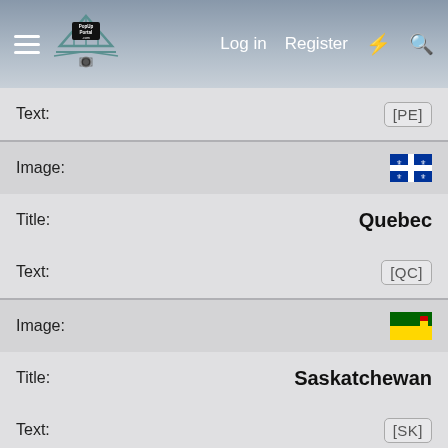PopUpPortal.com — Log in Register
Text: [PE]
[Figure (illustration): Quebec provincial flag icon — blue and white fleur-de-lis cross pattern]
Image:
Title: Quebec
Text: [QC]
[Figure (illustration): Saskatchewan provincial flag icon — yellow and green horizontal bands with shield]
Image:
Title: Saskatchewan
Text: [SK]
[Figure (illustration): Yukon territorial flag icon — dark green, white, and dark blue vertical stripes with coat of arms]